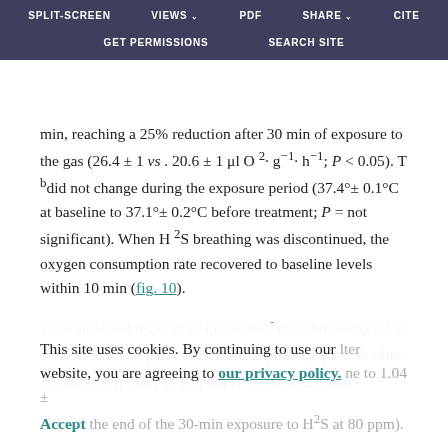SPLIT-SCREEN | VIEWS | PDF | SHARE | CITE | GET PERMISSIONS | SEARCH SITE
min, reaching a 25% reduction after 30 min of exposure to the gas (26.4 ± 1 vs . 20.6 ± 1 μl O²· g⁻¹· h⁻¹; P < 0.05). T b did not change during the exposure period (37.4°± 0.1°C at baseline to 37.1°± 0.2°C before treatment; P = not significant). When H²S breathing was discontinued, the oxygen consumption rate recovered to baseline levels within 10 min (fig. 10).
The calculated respiratory quotient of mice breathing air at Tª35°C was compared with their respiratory quotient after 30 min of exposure to 80 ppm H²S. We found that
This site uses cookies. By continuing to use our website, you are agreeing to our privacy policy. Accept the end of the 30-min exposure to H²S at 80 ppm).